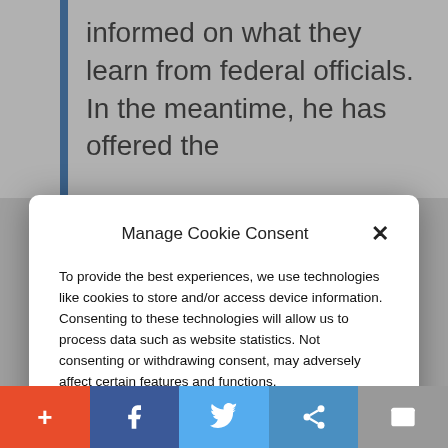informed on what they learn from federal officials. In the meantime, he has offered the
Manage Cookie Consent
To provide the best experiences, we use technologies like cookies to store and/or access device information. Consenting to these technologies will allow us to process data such as website statistics. Not consenting or withdrawing consent, may adversely affect certain features and functions.
Accept
Cookie Policy   Privacy Policy